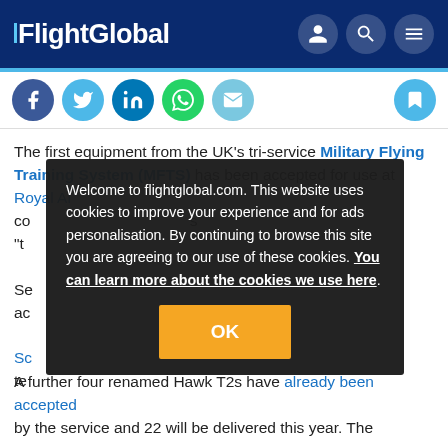FlightGlobal
[Figure (screenshot): Social sharing icons: Facebook, Twitter, LinkedIn, WhatsApp, Email, and a bookmark button]
The first equipment from the UK's tri-service Military Flying Training System (MFTS) has been accepted for use at Royal Air Force...
Welcome to flightglobal.com. This website uses cookies to improve your experience and for ads personalisation. By continuing to browse this site you are agreeing to our use of these cookies. You can learn more about the cookies we use here.
A further four renamed Hawk T2s have already been accepted by the service and 22 will be delivered this year. The...